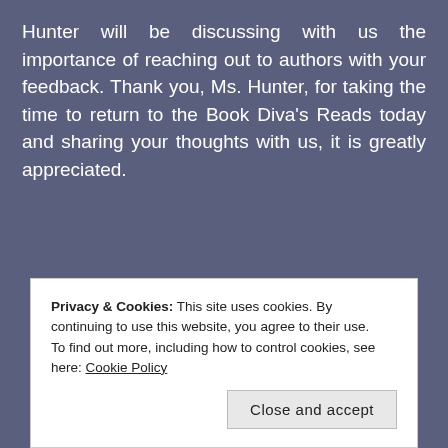Hunter will be discussing with us the importance of reaching out to authors with your feedback. Thank you, Ms. Hunter, for taking the time to return to the Book Diva's Reads today and sharing your thoughts with us, it is greatly appreciated.
[Figure (logo): Guest Post logo with stacked books illustration and decorative horizontal line above the script text 'Guest Post' in red cursive]
Privacy & Cookies: This site uses cookies. By continuing to use this website, you agree to their use.
To find out more, including how to control cookies, see here: Cookie Policy